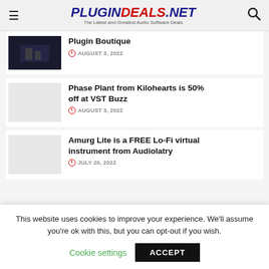PLUGINDEALS.NET — The Latest and Greatest Audio Software Deals
Plugin Boutique — AUGUST 3, 2022
Phase Plant from Kilohearts is 50% off at VST Buzz — AUGUST 3, 2022
Amurg Lite is a FREE Lo-Fi virtual instrument from Audiolatry — JULY 20, 2022
This website uses cookies to improve your experience. We'll assume you're ok with this, but you can opt-out if you wish.
Cookie settings   ACCEPT